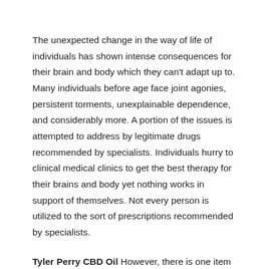The unexpected change in the way of life of individuals has shown intense consequences for their brain and body which they can't adapt up to. Many individuals before age face joint agonies, persistent torments, unexplainable dependence, and considerably more. A portion of the issues is attempted to address by legitimate drugs recommended by specialists. Individuals hurry to clinical medical clinics to get the best therapy for their brains and body yet nothing works in support of themselves. Not every person is utilized to the sort of prescriptions recommended by specialists.
Tyler Perry CBD Oil However, there is one item that is getting a colossal change in the existence of individuals. It is known as Tyler Perry CBD Oil. Many individuals know...